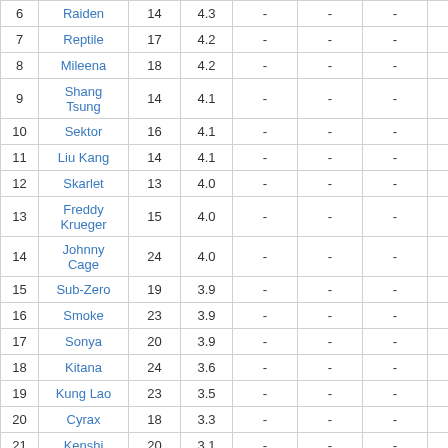| # | Name | Col3 | Col4 | Col5 | Col6 | Col7 | Col8 |
| --- | --- | --- | --- | --- | --- | --- | --- |
| 6 | Raiden | 14 | 4.3 | - | - | - |  |
| 7 | Reptile | 17 | 4.2 | - | - | - |  |
| 8 | Mileena | 18 | 4.2 | - | - | - |  |
| 9 | Shang Tsung | 14 | 4.1 | - | - | - |  |
| 10 | Sektor | 16 | 4.1 | - | - | - |  |
| 11 | Liu Kang | 14 | 4.1 | - | - | - |  |
| 12 | Skarlet | 13 | 4.0 | - | - | - |  |
| 13 | Freddy Krueger | 15 | 4.0 | - | - | - |  |
| 14 | Johnny Cage | 24 | 4.0 | - | - | - |  |
| 15 | Sub-Zero | 19 | 3.9 | - | - | - |  |
| 16 | Smoke | 23 | 3.9 | - | - | - |  |
| 17 | Sonya | 20 | 3.9 | - | - | - |  |
| 18 | Kitana | 24 | 3.6 | - | - | - |  |
| 19 | Kung Lao | 23 | 3.5 | - | - | - |  |
| 20 | Cyrax | 18 | 3.3 | - | - | - |  |
| 21 | Kenshi | 20 | 3.1 | - | - | - |  |